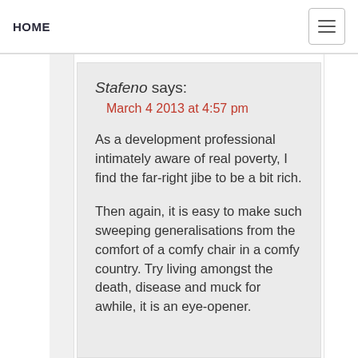HOME
Stafeno says:
March 4 2013 at 4:57 pm

As a development professional intimately aware of real poverty, I find the far-right jibe to be a bit rich.

Then again, it is easy to make such sweeping generalisations from the comfort of a comfy chair in a comfy country. Try living amongst the death, disease and muck for awhile, it is an eye-opener.